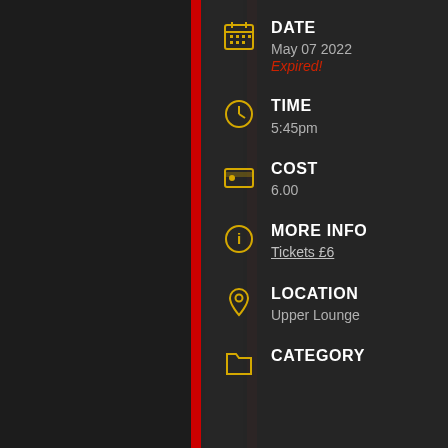DATE
May 07 2022
Expired!
TIME
5:45pm
COST
6.00
MORE INFO
Tickets £6
LOCATION
Upper Lounge
CATEGORY